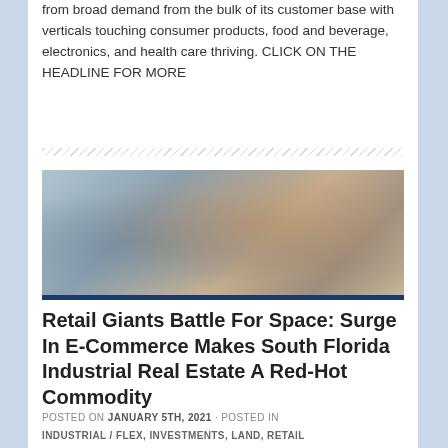from broad demand from the bulk of its customer base with verticals touching consumer products, food and beverage, electronics, and health care thriving. CLICK ON THE HEADLINE FOR MORE
[Figure (photo): Photo of hands typing on a laptop keyboard, with reflective/glassy overlay effect. Dark blue bar at the bottom of the image.]
Retail Giants Battle For Space: Surge In E-Commerce Makes South Florida Industrial Real Estate A Red-Hot Commodity
POSTED ON JANUARY 5TH, 2021 · POSTED IN
INDUSTRIAL / FLEX, INVESTMENTS, LAND, RETAIL